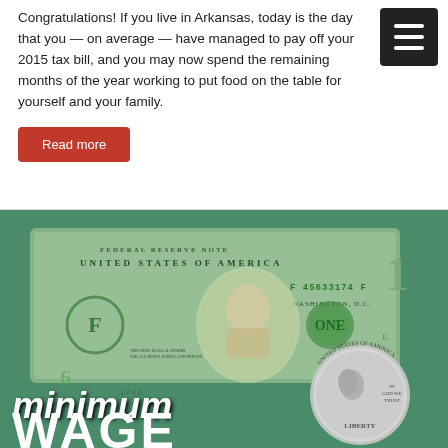Congratulations! If you live in Arkansas, today is the day that you — on average — have managed to pay off your 2015 tax bill, and you may now spend the remaining months of the year working to put food on the table for yourself and your family.
Read more
[Figure (photo): A close-up photograph of US dollar bills (Federal Reserve Note, United States of America, serial number F 45633174 F, Washington D.C.) with a quarter coin showing Washington's profile and text LIBERTY, IN GOD WE TRUST. The image has overlaid bold white italic text reading 'minimum WAGE'.]